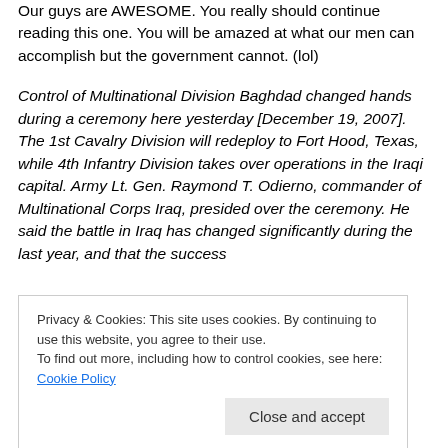Our guys are AWESOME. You really should continue reading this one. You will be amazed at what our men can accomplish but the government cannot. (lol)
Control of Multinational Division Baghdad changed hands during a ceremony here yesterday [December 19, 2007]. The 1st Cavalry Division will redeploy to Fort Hood, Texas, while 4th Infantry Division takes over operations in the Iraqi capital. Army Lt. Gen. Raymond T. Odierno, commander of Multinational Corps Iraq, presided over the ceremony. He said the battle in Iraq has changed significantly during the last year, and that the success
Privacy & Cookies: This site uses cookies. By continuing to use this website, you agree to their use.
To find out more, including how to control cookies, see here: Cookie Policy
the case of Baghdad in 2006 and 2007, the right people